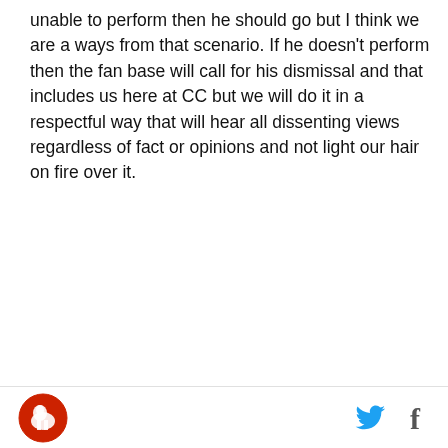unable to perform then he should go but I think we are a ways from that scenario. If he doesn't perform then the fan base will call for his dismissal and that includes us here at CC but we will do it in a respectful way that will hear all dissenting views regardless of fact or opinions and not light our hair on fire over it.
[Figure (screenshot): Advertisement placeholder box with 'AD' label in top right, followed by a video still showing a young man in a denim jacket standing in front of a blue-tiled wall. Overlay text reads 'Unfold ir world' with a play button in the center.]
Logo icon (horse), Twitter bird icon, Facebook f icon